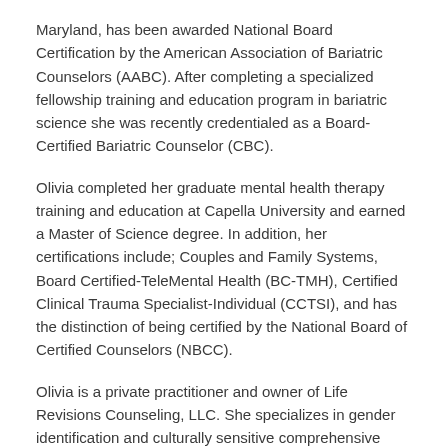Maryland, has been awarded National Board Certification by the American Association of Bariatric Counselors (AABC). After completing a specialized fellowship training and education program in bariatric science she was recently credentialed as a Board-Certified Bariatric Counselor (CBC).
Olivia completed her graduate mental health therapy training and education at Capella University and earned a Master of Science degree. In addition, her certifications include; Couples and Family Systems, Board Certified-TeleMental Health (BC-TMH), Certified Clinical Trauma Specialist-Individual (CCTSI), and has the distinction of being certified by the National Board of Certified Counselors (NBCC).
Olivia is a private practitioner and owner of Life Revisions Counseling, LLC. She specializes in gender identification and culturally sensitive comprehensive counseling for LGBTQ+ and Black, Indigenous People of Color (BIPOC).  Like many therapists she has seen a recent increase in clients seeking assistance with getting bariatric surgery and realized the need for Bariatric Science training and certification.